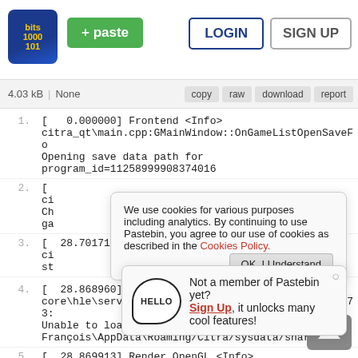Pastebin header with logo, + paste button, LOGIN, SIGN UP
4.03 kB | None | copy | raw | download | report
1. [ 0.000000] Frontend <Info> citra_qt\main.cpp:GMainWindow::OnGameListOpenSaveFo... Opening save data path for program_id=11258999908374016
2. [ ... ci ... Ch ... ga ...
[Figure (screenshot): Cookie consent banner: We use cookies for various purposes including analytics. By continuing to use Pastebin, you agree to our use of cookies as described in the Cookies Policy. OK, I Understand button.]
[Figure (infographic): Hello speech bubble popup: Not a member of Pastebin yet? Sign Up, it unlocks many cool features! with close X button.]
3. [ 28.701713] Frontend <Info> ci... st...
4. [ 28.868960] Service.APT <Warning> core\hle\service\apt\apt.cpp:Service::APT::Init:673: Unable to load shared font: C:\Users\Jean-François\AppData\Roaming/Citra/sysdata/shared...
5. [ 28.869913] Render.OpenGL <Info>